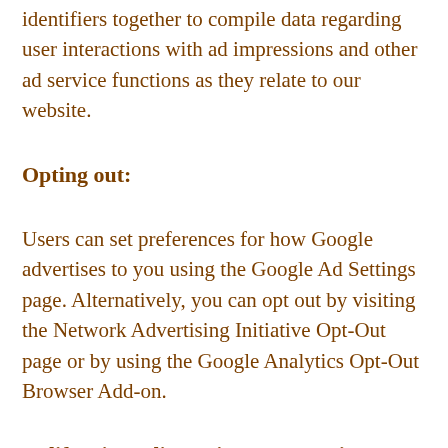identifiers together to compile data regarding user interactions with ad impressions and other ad service functions as they relate to our website.
Opting out:
Users can set preferences for how Google advertises to you using the Google Ad Settings page. Alternatively, you can opt out by visiting the Network Advertising Initiative Opt-Out page or by using the Google Analytics Opt-Out Browser Add-on.
California Online Privacy Protection Act